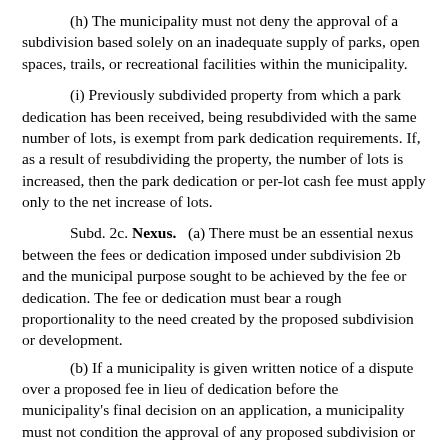(h) The municipality must not deny the approval of a subdivision based solely on an inadequate supply of parks, open spaces, trails, or recreational facilities within the municipality.
(i) Previously subdivided property from which a park dedication has been received, being resubdivided with the same number of lots, is exempt from park dedication requirements. If, as a result of resubdividing the property, the number of lots is increased, then the park dedication or per-lot cash fee must apply only to the net increase of lots.
Subd. 2c. Nexus. (a) There must be an essential nexus between the fees or dedication imposed under subdivision 2b and the municipal purpose sought to be achieved by the fee or dedication. The fee or dedication must bear a rough proportionality to the need created by the proposed subdivision or development.
(b) If a municipality is given written notice of a dispute over a proposed fee in lieu of dedication before the municipality's final decision on an application, a municipality must not condition the approval of any proposed subdivision or development on an agreement to waive the right to